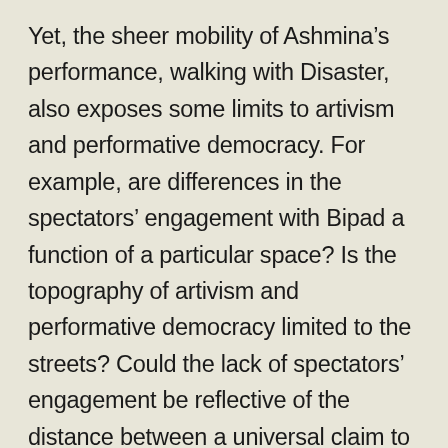Yet, the sheer mobility of Ashmina’s performance, walking with Disaster, also exposes some limits to artivism and performative democracy. For example, are differences in the spectators’ engagement with Bipad a function of a particular space? Is the topography of artivism and performative democracy limited to the streets? Could the lack of spectators’ engagement be reflective of the distance between a universal claim to rights and a particular demand for a constitutional change? Ultimately, Ashmina’s performances create yet another level of provocation: one that stimulates further exploration of the very